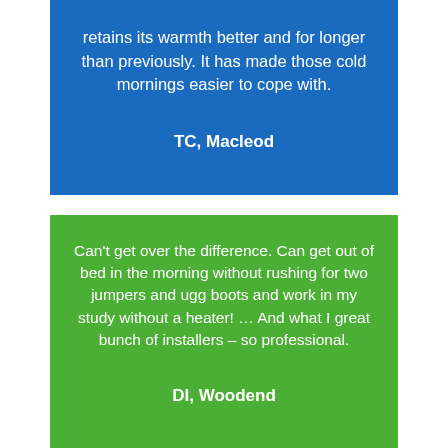retains its warmth better and for longer than previously. It has made those cold mornings easier to cope with.

TC, Macleod
Can't get over the difference. Can get out of bed in the morning without rushing for two jumpers and ugg boots and work in my study without a heater! … And what I great bunch of installers – so professional.

DI, Woodend